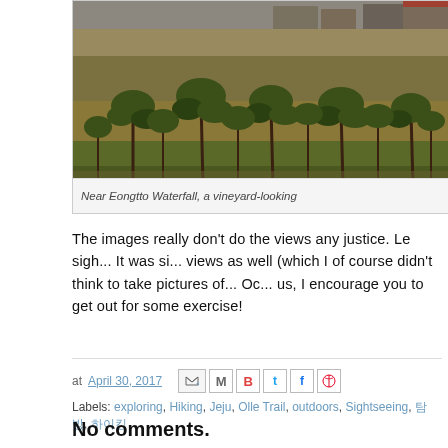[Figure (photo): A hillside landscape near Eongtto Waterfall showing sparse trees on rocky terrain with buildings visible at the top of the hill]
Near Eongtto Waterfall, a vineyard-looking
The images really don't do the views any justice. Le sigh... It was si... views as well (which I of course didn't think to take pictures of... Oc... us, I encourage you to get out for some exercise!
at April 30, 2017
Labels: exploring, Hiking, Jeju, Olle Trail, outdoors, Sightseeing, 탐방, 하이킹
No comments.